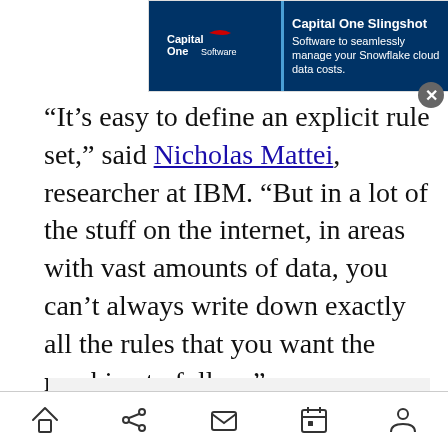[Figure (screenshot): Capital One Software Slingshot advertisement banner with dark blue background, Capital One logo on left, blue vertical divider, and text 'Capital One Slingshot - Software to seamlessly manage your Snowflake cloud data costs.' with a close (X) button.]
“It’s easy to define an explicit rule set,” said Nicholas Mattei, researcher at IBM. “But in a lot of the stuff on the internet, in areas with vast amounts of data, you can’t always write down exactly all the rules that you want the machine to follow.”
[Figure (other): Advertisement placeholder box with light grey background and the word ADVERTISEMENT in grey uppercase letters.]
[Figure (other): Mobile browser bottom navigation bar with home, share, mail, calendar, and person icons.]